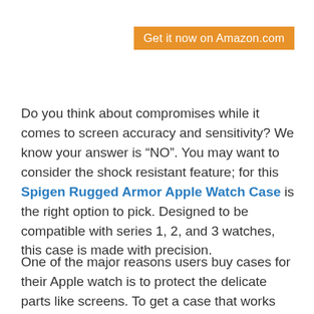Get it now on Amazon.com
Do you think about compromises while it comes to screen accuracy and sensitivity? We know your answer is “NO”. You may want to consider the shock resistant feature; for this Spigen Rugged Armor Apple Watch Case is the right option to pick. Designed to be compatible with series 1, 2, and 3 watches, this case is made with precision.
One of the major reasons users buy cases for their Apple watch is to protect the delicate parts like screens. To get a case that works incredibly,